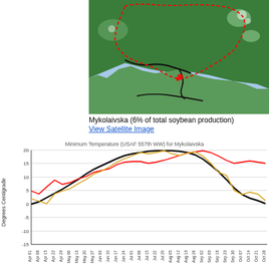[Figure (map): Satellite/remote sensing map showing Mykolaivska region in Ukraine outlined with red dashed border. Green vegetation, blue water body (Black Sea area), gray/white areas visible.]
Mykolaivska (6% of total soybean production)
View Satellite Image
[Figure (line-chart): Three-line chart showing minimum temperatures for Mykolaivska from April to October. Red line (current year) starts around 5°C, rises to ~20°C peak in August. Yellow/gold line (previous year) starts around 2°C, peaks around 21°C in July then drops sharply. Black smooth curve (long-term average) starts near 0°C, peaks near 20°C in late August, returns to ~5°C in October.]